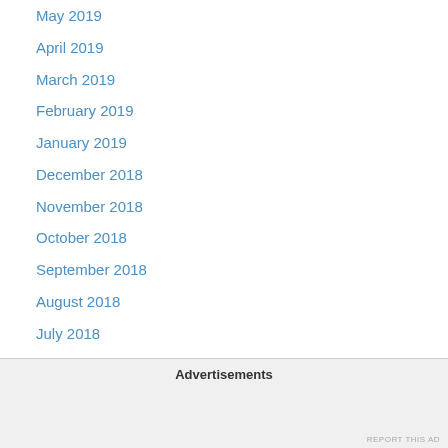May 2019
April 2019
March 2019
February 2019
January 2019
December 2018
November 2018
October 2018
September 2018
August 2018
July 2018
June 2018
May 2018
April 2018
March 2018
February 2018
Advertisements
REPORT THIS AD